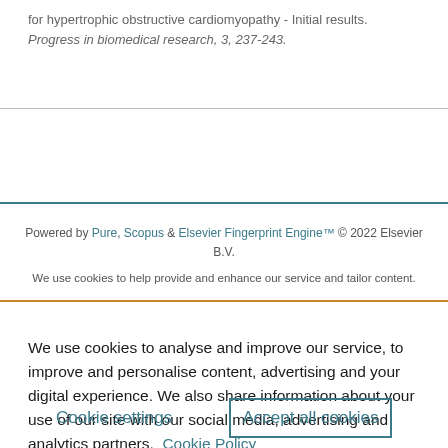for hypertrophic obstructive cardiomyopathy - Initial results. Progress in biomedical research, 3, 237-243.
Powered by Pure, Scopus & Elsevier Fingerprint Engine™ © 2022 Elsevier B.V.
We use cookies to help provide and enhance our service and tailor content.
We use cookies to analyse and improve our service, to improve and personalise content, advertising and your digital experience. We also share information about your use of our site with our social media, advertising and analytics partners.  Cookie Policy
Cookie settings
Accept all cookies